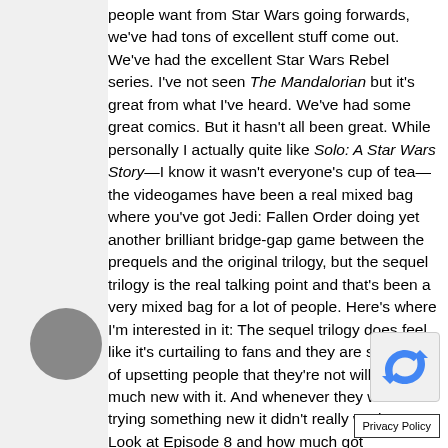people want from Star Wars going forwards, we've had tons of excellent stuff come out. We've had the excellent Star Wars Rebel series. I've not seen The Mandalorian but it's great from what I've heard. We've had some great comics. But it hasn't all been great. While personally I actually quite like Solo: A Star Wars Story—I know it wasn't everyone's cup of tea—the videogames have been a real mixed bag where you've got Jedi: Fallen Order doing yet another brilliant bridge-gap game between the prequels and the original trilogy, but the sequel trilogy is the real talking point and that's been a very mixed bag for a lot of people. Here's where I'm interested in it: The sequel trilogy does feel like it's curtailing to fans and they are so scared of upsetting people that they're not willing to try much new with it. And whenever they were trying something new it didn't really work out. Look at Episode 8 and how much got abandoned by the time Episode 9 came around; it was almost like that film was completely unimportant. There's a great video Mitch Benn did entitled 'Why I'm Proud To Be A Dr Who Fan Right Now' which actua
[Figure (other): Gray circular button/avatar element in lower left area]
[Figure (other): reCAPTCHA icon - blue recycling arrow icon on light gray background]
Privacy Policy